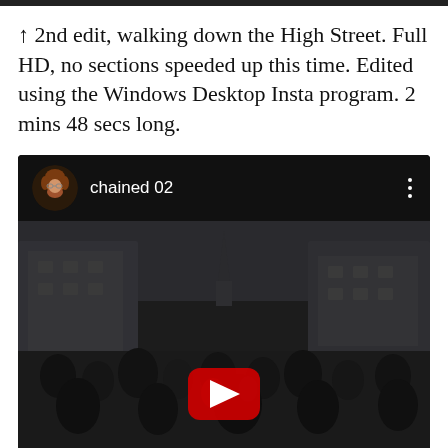↑ 2nd edit, walking down the High Street. Full HD, no sections speeded up this time. Edited using the Windows Desktop Insta program. 2 mins 48 secs long.
[Figure (screenshot): YouTube-style video player showing 'chained 02' channel with a dark thumbnail of a crowded High Street with a church spire in the background, and a red play button in the center.]